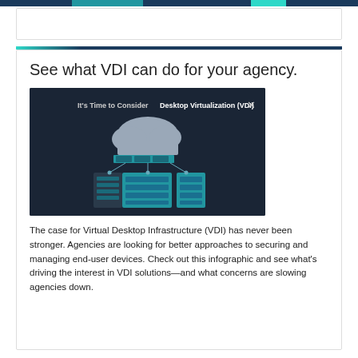See what VDI can do for your agency.
[Figure (screenshot): Thumbnail image of a presentation slide titled 'It's Time to Consider Desktop Virtualization (VDI)' showing a dark background with a cloud computing network diagram connecting servers and devices, with an X close button in upper right.]
The case for Virtual Desktop Infrastructure (VDI) has never been stronger. Agencies are looking for better approaches to securing and managing end-user devices. Check out this infographic and see what's driving the interest in VDI solutions—and what concerns are slowing agencies down.